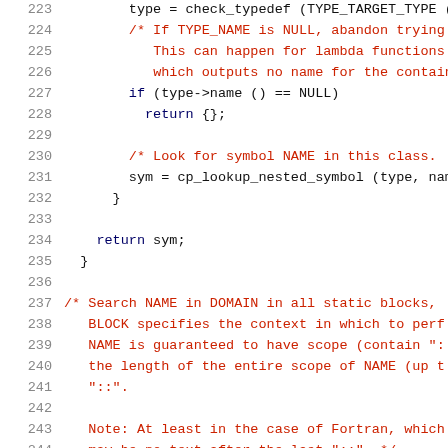[Figure (screenshot): Source code listing showing C/C++ code lines 223-244, with line numbers on the left in gray, keywords in dark blue, and comments/identifiers in dark red on a white background.]